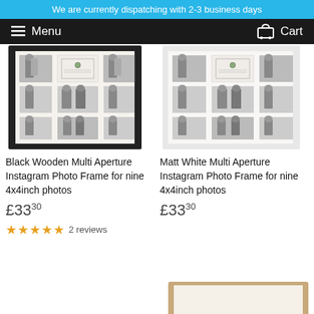We are currently dispatching with 2-3 business days
Menu  Cart
[Figure (photo): Black wooden multi aperture photo frame containing nine 4x4 inch black and white photos of a woman, arranged in a 3x3 grid with a certificate/logo in the center]
Black Wooden Multi Aperture Instagram Photo Frame for nine 4x4inch photos
£33.30
★★★★★ 2 reviews
[Figure (photo): Matt white multi aperture photo frame containing nine 4x4 inch black and white photos of a woman, arranged in a 3x3 grid with a certificate/logo in the center]
Matt White Multi Aperture Instagram Photo Frame for nine 4x4inch photos
£33.30
[Figure (photo): Partial view of a natural/wood-toned multi aperture photo frame at the bottom right of the page]